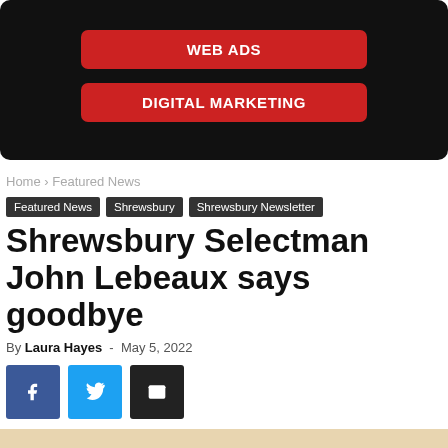[Figure (other): Dark advertisement banner with two red buttons labeled WEB ADS and DIGITAL MARKETING]
Home › Featured News
Featured News   Shrewsbury   Shrewsbury Newsletter
Shrewsbury Selectman John Lebeaux says goodbye
By Laura Hayes - May 5, 2022
[Figure (other): Social share buttons: Facebook, Twitter, Email]
[Figure (photo): Partial photo at bottom of page, appears to show a seal or emblem]